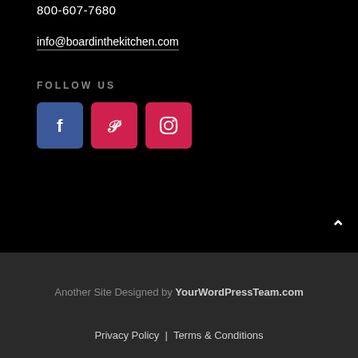800-607-7680
info@boardinthekitchen.com
FOLLOW US
[Figure (other): Three social media icon buttons: Facebook (blue), Pinterest (red), Instagram (red/pink)]
Another Site Designed by YourWordPressTeam.com
Privacy Policy | Terms & Conditions